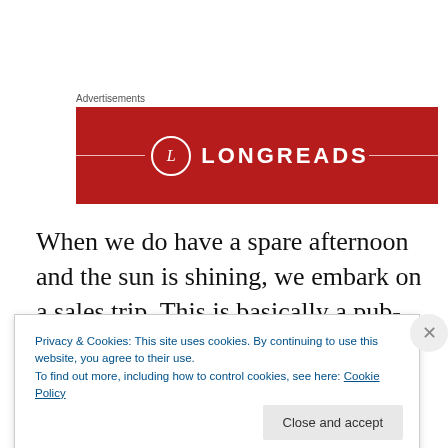Advertisements
[Figure (logo): Longreads logo on dark red banner background with white text and decorative lines]
When we do have a spare afternoon and the sun is shining, we embark on a sales trip. This is basically a pub-crawl, but without drinking any beer (usually). The
Privacy & Cookies: This site uses cookies. By continuing to use this website, you agree to their use.
To find out more, including how to control cookies, see here: Cookie Policy
Close and accept